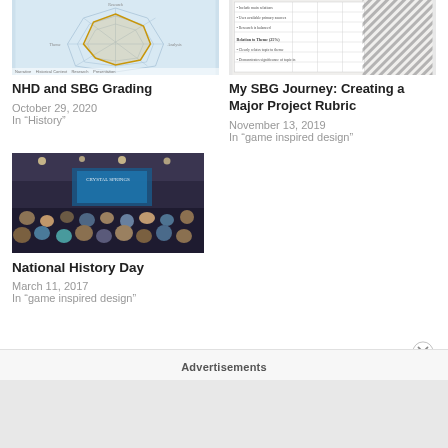[Figure (other): Radar/spider chart on light blue background showing NHD grading criteria]
NHD and SBG Grading
October 29, 2020
In “History”
[Figure (other): Rubric table screenshot with diagonal striped overlay]
My SBG Journey: Creating a Major Project Rubric
November 13, 2019
In “game inspired design”
[Figure (photo): Audience seated in a large auditorium with stage lighting and banner visible]
National History Day
March 11, 2017
In “game inspired design”
Advertisements